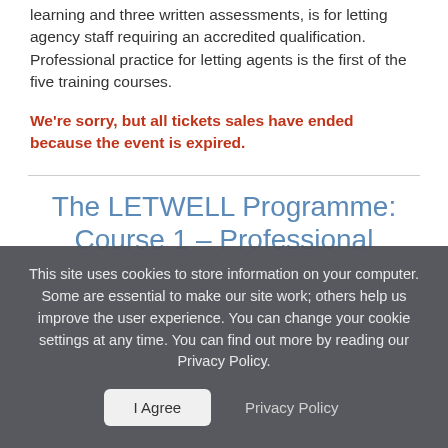learning and three written assessments, is for letting agency staff requiring an accredited qualification. Professional practice for letting agents is the first of the five training courses.
We're sorry, but all tickets sales have ended because the event is expired.
The LETWELL Programme: Course 1 – Professional
This site uses cookies to store information on your computer. Some are essential to make our site work; others help us improve the user experience. You can change your cookie settings at any time. You can find out more by reading our Privacy Policy.
I Agree   Privacy Policy